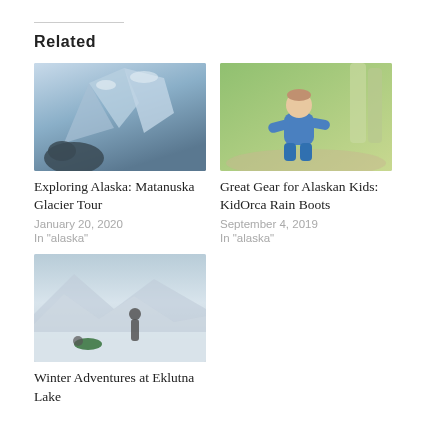Related
[Figure (photo): Photo of a bear near Matanuska Glacier with icy blue glacier formations in background]
Exploring Alaska: Matanuska Glacier Tour
January 20, 2020
In "alaska"
[Figure (photo): Photo of a young child in blue outfit crouching on a gravel path in a forest]
Great Gear for Alaskan Kids: KidOrca Rain Boots
September 4, 2019
In "alaska"
[Figure (photo): Photo of a person walking on a frozen lake with mountains in background and another person lying on ice in foreground]
Winter Adventures at Eklutna Lake